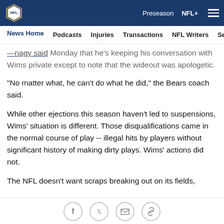NFL — Preseason  NFL+  ☰
News Home  Podcasts  Injuries  Transactions  NFL Writers  Se
...nagy said Monday that he's keeping his conversation with Wims private except to note that the wideout was apologetic.
"No matter what, he can't do what he did," the Bears coach said.
While other ejections this season haven't led to suspensions, Wims' situation is different. Those disqualifications came in the normal course of play -- illegal hits by players without significant history of making dirty plays. Wims' actions did not.
The NFL doesn't want scraps breaking out on its fields,